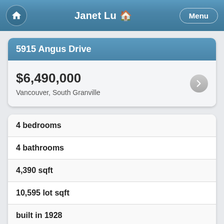Janet Lu 🏠 | Menu
5915 Angus Drive
$6,490,000
Vancouver, South Granville
4 bedrooms
4 bathrooms
4,390 sqft
10,595 lot sqft
built in 1928
$22,873 taxes in 2020
House